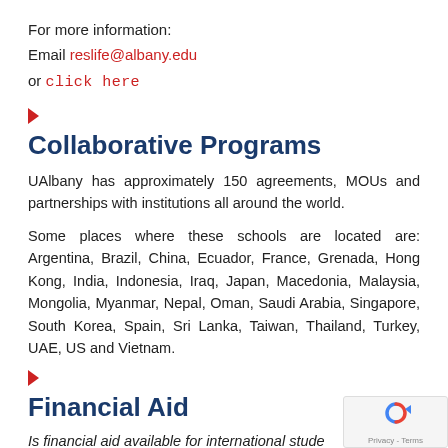For more information:
Email reslife@albany.edu
or click here
Collaborative Programs
UAlbany has approximately 150 agreements, MOUs and partnerships with institutions all around the world.
Some places where these schools are located are: Argentina, Brazil, China, Ecuador, France, Grenada, Hong Kong, India, Indonesia, Iraq, Japan, Macedonia, Malaysia, Mongolia, Myanmar, Nepal, Oman, Saudi Arabia, Singapore, South Korea, Spain, Sri Lanka, Taiwan, Thailand, Turkey, UAE, US and Vietnam.
Financial Aid
Is financial aid available for international students?
Yes. We offer up to $12,000 scholarships for